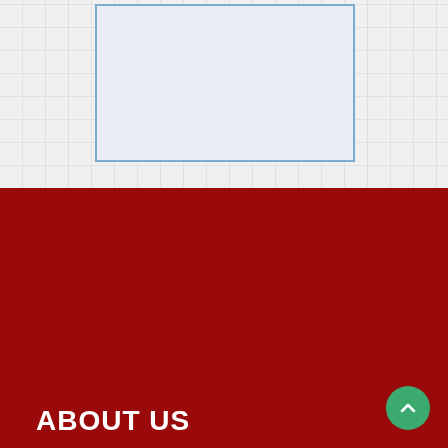[Figure (photo): Image placeholder box with blue border on grey grid background]
ABOUT US
Satguru Partap International School The flame of struggle for independence lit by Sri Satguru Ram Singh Ji was kept burning by Satguru Partap Singh Ji till the country achieved its independence. During partition thousands of Sikhs had left in Pakistan and to rescue them, Satguru Partap Singh Ji struggled a lot. After partition of India,